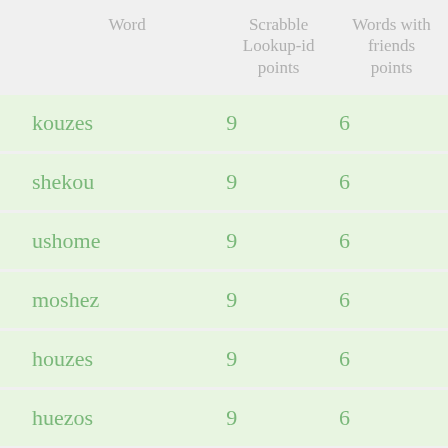| Word | Scrabble Lookup-id points | Words with friends points |
| --- | --- | --- |
| kouzes | 9 | 6 |
| shekou | 9 | 6 |
| ushome | 9 | 6 |
| moshez | 9 | 6 |
| houzes | 9 | 6 |
| huezos | 9 | 6 |
| houses | 9 | 6 |